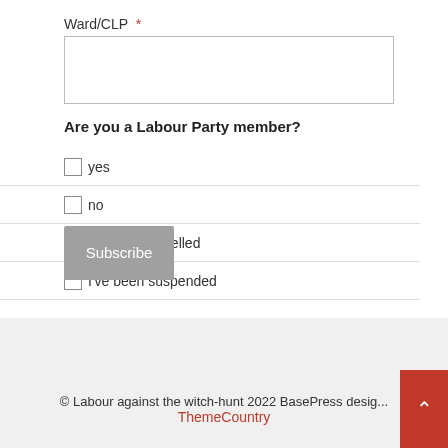Ward/CLP *
Are you a Labour Party member?
yes
no
I've been expelled
I've been suspended
Subscribe
© Labour against the witch-hunt 2022 BasePress design ThemeCountry